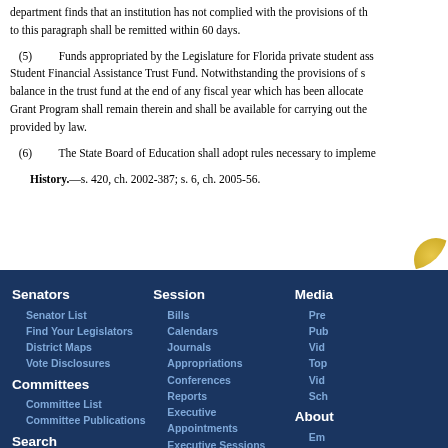department finds that an institution has not complied with the provisions of this paragraph, funds to this paragraph shall be remitted within 60 days.
(5) Funds appropriated by the Legislature for Florida private student assistance shall be deposited in the Student Financial Assistance Trust Fund. Notwithstanding the provisions of s. 216.301, any unencumbered balance in the trust fund at the end of any fiscal year which has been allocated to the Florida Private Student Grant Program shall remain therein and shall be available for carrying out the purposes of the program as provided by law.
(6) The State Board of Education shall adopt rules necessary to implement this section.
History.—s. 420, ch. 2002-387; s. 6, ch. 2005-56.
Senators | Senator List | Find Your Legislators | District Maps | Vote Disclosures | Committees | Committee List | Committee Publications | Search | Bill Search Tips | Session | Bills | Calendars | Journals | Appropriations | Conferences | Reports | Executive | Appointments | Executive Sessions | Media | Press | Publications | Videos | Topics | Video Archive | Schedule | About | Employment | Videos